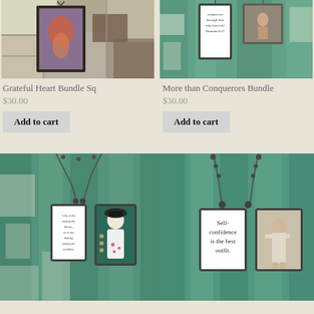[Figure (photo): Grateful Heart Bundle Sq product photo - necklace pendant with artistic image on cracked paint background]
[Figure (photo): More than Conquerors Bundle product photo - necklace pendant with scripture text on teal painted wood background]
Grateful Heart Bundle Sq
$30.00
Add to cart
More than Conquerors Bundle
$30.00
Add to cart
[Figure (photo): Pendant necklace showing two charms on teal painted wood - one with script quote about lily among thorns, one with folk art girl in white dress]
[Figure (photo): Pendant necklace showing two charms on teal background - one reads 'Self-confidence is the best outfit.' and one with vintage photo of child]